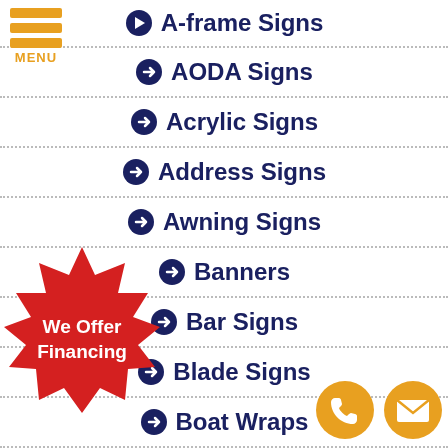[Figure (other): Hamburger menu icon with three orange bars and MENU text]
A-frame Signs
AODA Signs
Acrylic Signs
Address Signs
Awning Signs
Banners
Bar Signs
Blade Signs
Boat Wraps
[Figure (other): Red starburst badge with white text: We Offer Financing]
[Figure (other): Orange circle phone icon and orange circle envelope/email icon]